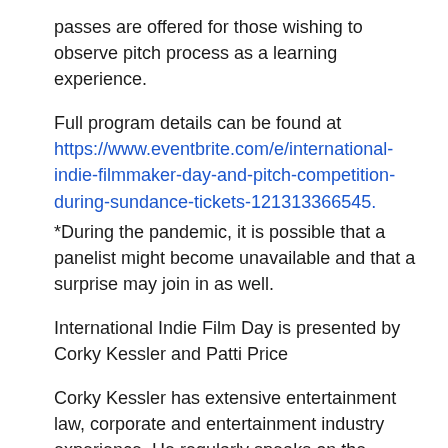passes are offered for those wishing to observe pitch process as a learning experience.
Full program details can be found at https://www.eventbrite.com/e/international-indie-filmmaker-day-and-pitch-competition-during-sundance-tickets-121313366545.
*During the pandemic, it is possible that a panelist might become unavailable and that a surprise may join in as well.
International Indie Film Day is presented by Corky Kessler and Patti Price
Corky Kessler has extensive entertainment law, corporate and entertainment industry experience. He regularly speaks on the business and legal aspects of feature film development and tax incentives in connection with the entertainment industry. Corky is